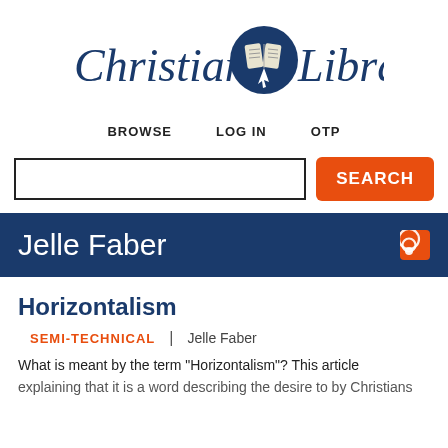[Figure (logo): Christian Library logo with italic script text and open book icon inside blue circle with cursor]
BROWSE   LOG IN   OTP
SEARCH
Jelle Faber
Horizontalism
SEMI-TECHNICAL  |  Jelle Faber
What is meant by the term "Horizontalism"? This article